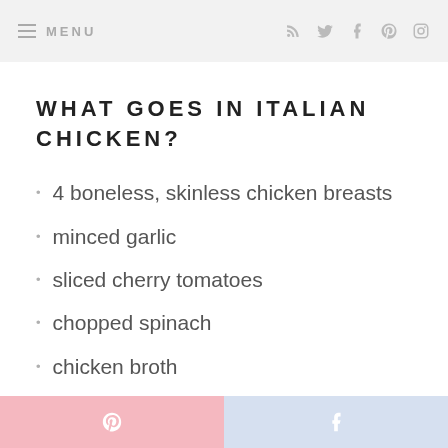MENU
WHAT GOES IN ITALIAN CHICKEN?
4 boneless, skinless chicken breasts
minced garlic
sliced cherry tomatoes
chopped spinach
chicken broth
heavy cream